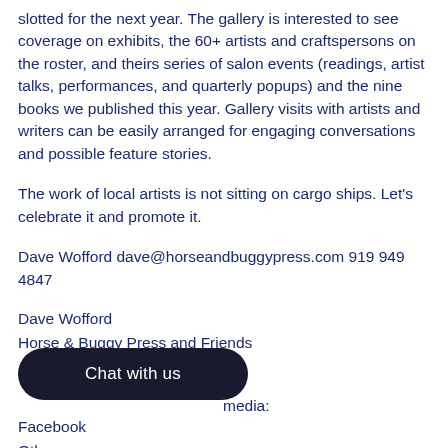slotted for the next year. The gallery is interested to see coverage on exhibits, the 60+ artists and craftspersons on the roster, and theirs series of salon events (readings, artist talks, performances, and quarterly popups) and the nine books we published this year. Gallery visits with artists and writers can be easily arranged for engaging conversations and possible feature stories.
The work of local artists is not sitting on cargo ships. Let's celebrate it and promote it.
Dave Wofford dave@horseandbuggypress.com 919 949 4847
Dave Wofford
Horse & Buggy Press and Friends
...media:
Facebook
Other